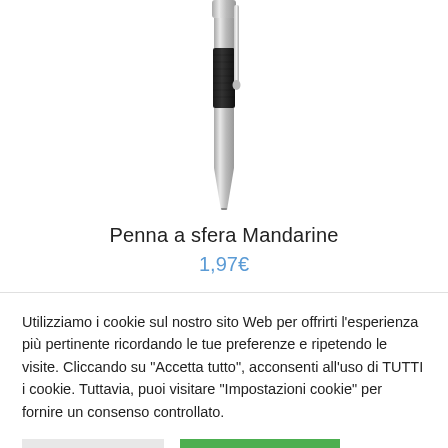[Figure (photo): A black and silver ballpoint pen pointing downward, showing the grip and tip section against a white background.]
Penna a sfera Mandarine
1,97€
Utilizziamo i cookie sul nostro sito Web per offrirti l'esperienza più pertinente ricordando le tue preferenze e ripetendo le visite. Cliccando su "Accetta tutto", acconsenti all'uso di TUTTI i cookie. Tuttavia, puoi visitare "Impostazioni cookie" per fornire un consenso controllato.
Personalizza
Accetta tutti